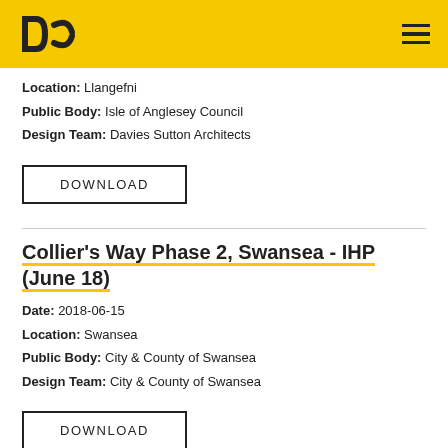DC logo and navigation menu
Location: Llangefni
Public Body: Isle of Anglesey Council
Design Team: Davies Sutton Architects
DOWNLOAD
Collier's Way Phase 2, Swansea - IHP (June 18)
Date: 2018-06-15
Location: Swansea
Public Body: City & County of Swansea
Design Team: City & County of Swansea
DOWNLOAD
Parc Yr Helyg, Swansea - IHP (June 18)